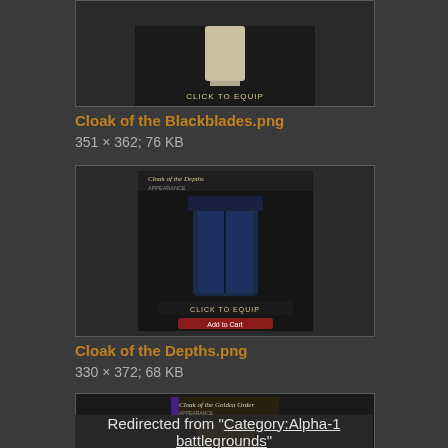[Figure (screenshot): Top portion of Cloak of the Blackblades game item screenshot with CLICK TO EQUIP button, partially visible]
Cloak of the Blackblades.png
351 × 362; 76 KB
[Figure (screenshot): Cloak of the Depths item appearance screenshot showing a dark blue cloak with CLICK TO EQUIP and Add to Cart buttons]
Cloak of the Depths.png
330 × 372; 68 KB
[Figure (screenshot): Cloak of the Golden Order item appearance screenshot, partially visible]
Redirected from "Category:Alpha-1 battlegrounds"